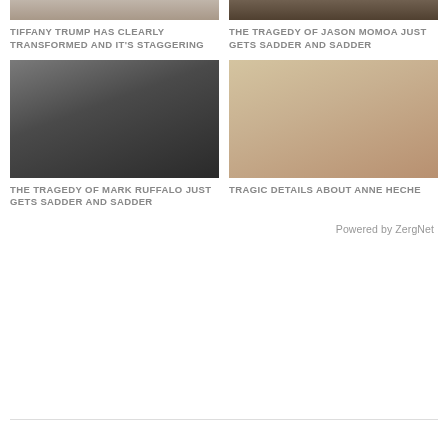[Figure (photo): Cropped top portion of Tiffany Trump photo]
TIFFANY TRUMP HAS CLEARLY TRANSFORMED AND IT'S STAGGERING
[Figure (photo): Cropped top portion of Jason Momoa photo]
THE TRAGEDY OF JASON MOMOA JUST GETS SADDER AND SADDER
[Figure (photo): Portrait photo of Mark Ruffalo]
THE TRAGEDY OF MARK RUFFALO JUST GETS SADDER AND SADDER
[Figure (photo): Portrait photo of Anne Heche]
TRAGIC DETAILS ABOUT ANNE HECHE
Powered by ZergNet